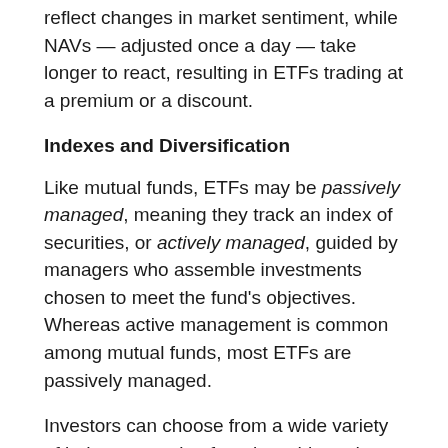reflect changes in market sentiment, while NAVs — adjusted once a day — take longer to react, resulting in ETFs trading at a premium or a discount.
Indexes and Diversification
Like mutual funds, ETFs may be passively managed, meaning they track an index of securities, or actively managed, guided by managers who assemble investments chosen to meet the fund's objectives. Whereas active management is common among mutual funds, most ETFs are passively managed.
Investors can choose from a wide variety of indexes, ranging from broad-based stock or bond indexes to specific market sectors or indexes that emphasize certain factors. This makes ETFs a helpful tool to gain exposure to various market segments, investing styles, or strategies, potentially at a lower cost. Diversification is a method used to help manage investment risk; it does not guarantee a profit or protect against